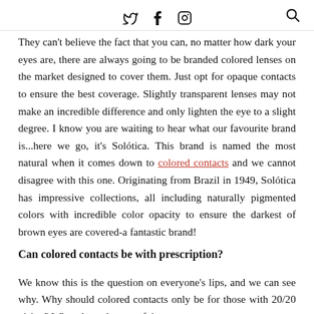Twitter Facebook Instagram Search
They can't believe the fact that you can, no matter how dark your eyes are, there are always going to be branded colored lenses on the market designed to cover them. Just opt for opaque contacts to ensure the best coverage. Slightly transparent lenses may not make an incredible difference and only lighten the eye to a slight degree. I know you are waiting to hear what our favourite brand is...here we go, it's Solótica. This brand is named the most natural when it comes down to colored contacts and we cannot disagree with this one. Originating from Brazil in 1949, Solótica has impressive collections, all including naturally pigmented colors with incredible color opacity to ensure the darkest of brown eyes are covered-a fantastic brand!
Can colored contacts be with prescription?
We know this is the question on everyone's lips, and we can see why. Why should colored contacts only be for those with 20/20 vision? What about the rest of the